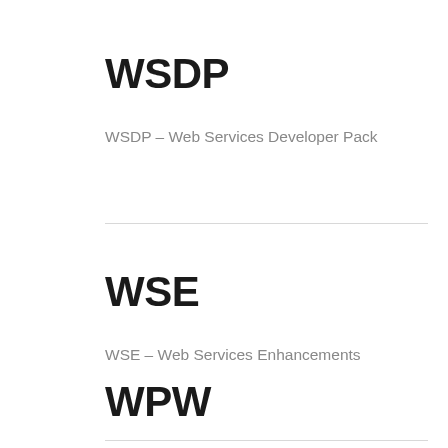WSDP
WSDP – Web Services Developer Pack
WSE
WSE – Web Services Enhancements
WPW